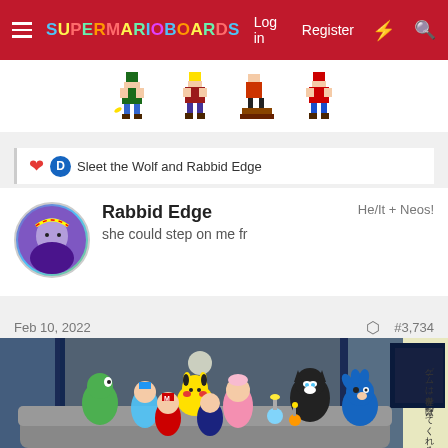Super Mario Boards — Log in | Register
[Figure (illustration): Pixel art sprites of Mario characters including Wario and others]
❤️ D Sleet the Wolf and Rabbid Edge
Rabbid Edge
He/It + Neos!
she could step on me fr
Feb 10, 2022
#3,734
[Figure (illustration): Fan art illustration showing various Nintendo and video game characters (Yoshi, Zelda, Pikachu, Peach, Sonic, Mario, Sora, Morgana, Pikmin characters) sitting together on a couch watching something. Japanese text on the right side reads ゲームは世界を繋げてくれる。]